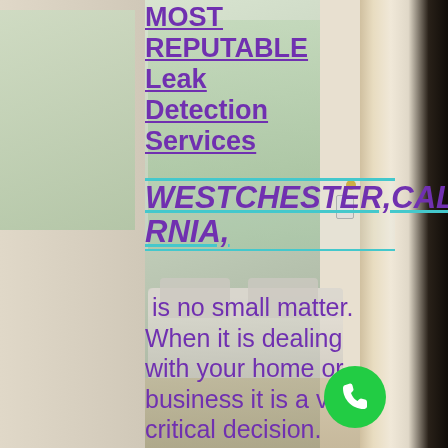[Figure (photo): Background photo of a bright, modern interior living room with white sofa, windows with greenery outside, white walls, and a dark door on the right side.]
MOST REPUTABLE Leak Detection Services WESTCHESTER,CALIFORNIA, is no small matter. When it is dealing with your home or business it is a very critical decision. Even Small Water Leaks Can Cause Major Damage To Your Home Or Commercial